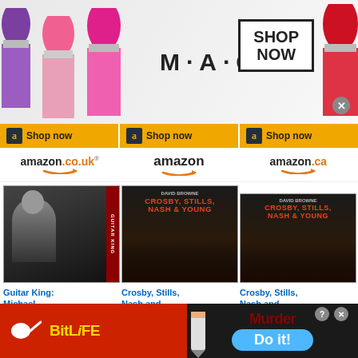[Figure (screenshot): MAC cosmetics advertisement banner showing colorful lipsticks and SHOP NOW button]
[Figure (screenshot): Amazon shopping ads section with three columns: amazon.co.uk, amazon.com, amazon.ca showing book products. Guitar King: Michael... £32.00 Prime, Crosby, Stills, Nash and... $16.99 Prime, Crosby, Stills, Nash and... CDN$ 30.12]
[Figure (screenshot): BitLife mobile game advertisement with red background, yellow BitLife logo, and Murder / Do it! call to action]